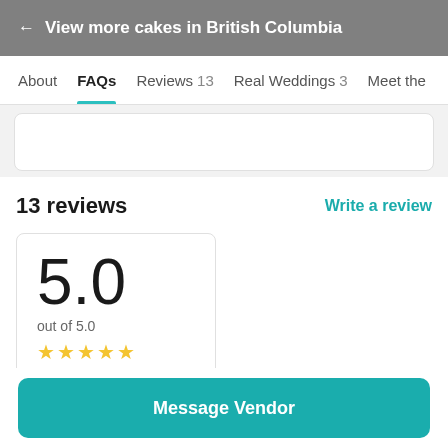← View more cakes in British Columbia
About  FAQs  Reviews 13  Real Weddings 3  Meet the
13 reviews
Write a review
5.0
out of 5.0
★★★★★
Message Vendor